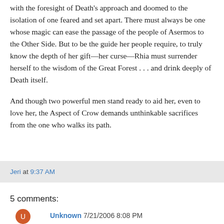with the foresight of Death's approach and doomed to the isolation of one feared and set apart. There must always be one whose magic can ease the passage of the people of Asermos to the Other Side. But to be the guide her people require, to truly know the depth of her gift—her curse—Rhia must surrender herself to the wisdom of the Great Forest . . . and drink deeply of Death itself.

And though two powerful men stand ready to aid her, even to love her, the Aspect of Crow demands unthinkable sacrifices from the one who walks its path.
Jeri at 9:37 AM
5 comments:
Unknown 7/21/2006 8:08 PM